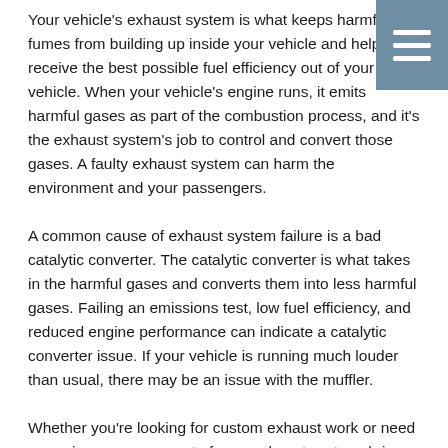Your vehicle's exhaust system is what keeps harmful fumes from building up inside your vehicle and helps you receive the best possible fuel efficiency out of your vehicle. When your vehicle's engine runs, it emits harmful gases as part of the combustion process, and it's the exhaust system's job to control and convert those gases. A faulty exhaust system can harm the environment and your passengers.
A common cause of exhaust system failure is a bad catalytic converter. The catalytic converter is what takes in the harmful gases and converts them into less harmful gases. Failing an emissions test, low fuel efficiency, and reduced engine performance can indicate a catalytic converter issue. If your vehicle is running much louder than usual, there may be an issue with the muffler.
Whether you're looking for custom exhaust work or need a repair on a component of your exhaust system, bring your vehicle into the